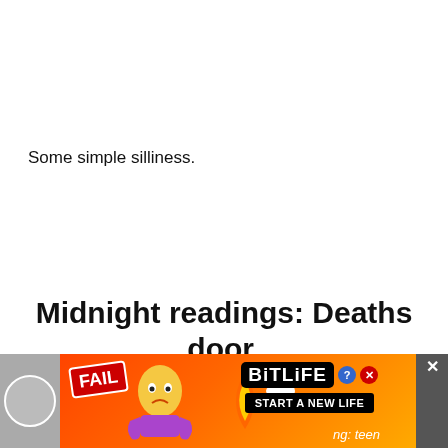Some simple silliness.
Midnight readings: Deaths door.
(warning: teen story)
[Figure (screenshot): Advertisement banner at the bottom of the page showing BitLife game ad with 'FAIL' label, cartoon character, fire emoji, BitLife logo with question mark and X close button, and 'START A NEW LIFE' button. Partially visible text reads 'ng: teen'.]